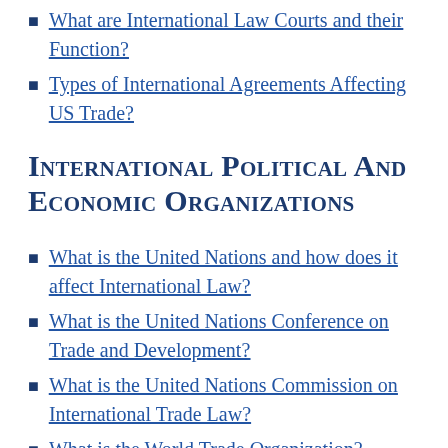What are International Law Courts and their Function?
Types of International Agreements Affecting US Trade?
International Political and Economic Organizations
What is the United Nations and how does it affect International Law?
What is the United Nations Conference on Trade and Development?
What is the United Nations Commission on International Trade Law?
What is the World Trade Organization?
What is the World Bank?
What is the International Monetary Fund?